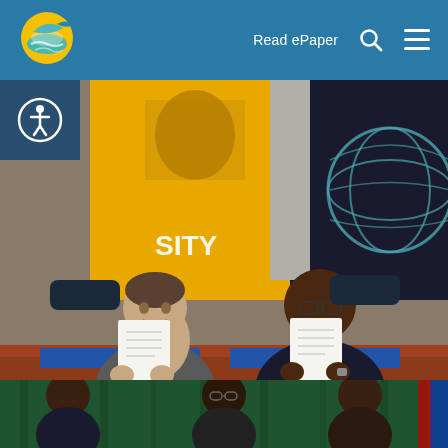Read ePaper
[Figure (photo): Two men sitting at a conference table, each holding up a signed document. Behind them are institutional banners including UWI and a globe logo. Blue folders are on the table in front of them.]
The UWI, Cave Hill and Deloitte formalise partnership
The University of the West Indies, Cave Hill Campus and Deloitte & Touche (Barbados) Limited have formalised their...
[Figure (photo): Partial view of people on a stage with green curtain background, partially cropped at bottom of page.]